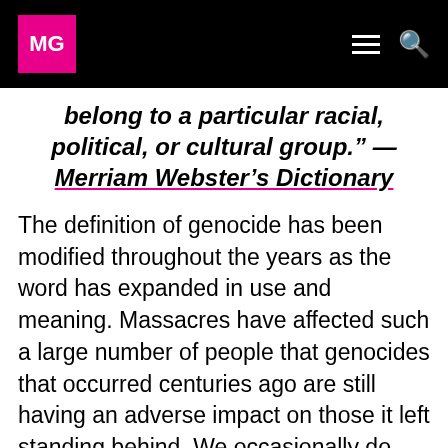MG
belong to a particular racial, political, or cultural group." — Merriam Webster's Dictionary
The definition of genocide has been modified throughout the years as the word has expanded in use and meaning. Massacres have affected such a large number of people that genocides that occurred centuries ago are still having an adverse impact on those it left standing behind. We occasionally do hear of the miraculous survivor stories by such individuals who have been...